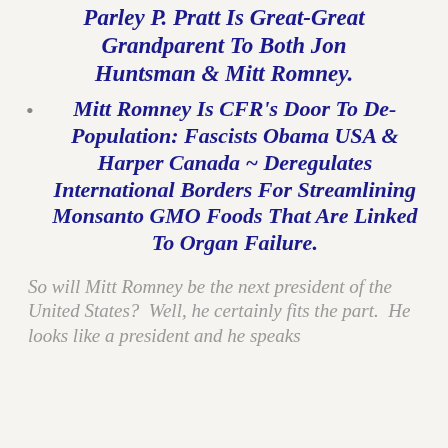Parley P. Pratt Is Great-Great Grandparent To Both Jon Huntsman & Mitt Romney.
Mitt Romney Is CFR's Door To De-Population: Fascists Obama USA & Harper Canada ~ Deregulates International Borders For Streamlining Monsanto GMO Foods That Are Linked To Organ Failure.
So will Mitt Romney be the next president of the United States? Well, he certainly fits the part. He looks like a president and he speaks